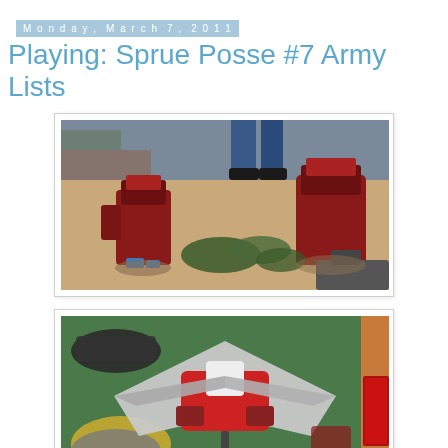Monday, March 7, 2011
Playing: Sprue Posse #7 Army Lists
[Figure (photo): Warhammer 40K miniatures on a gaming table. Red and green painted mech/robot figures and infantry on a beige terrain mat, with buildings in the background.]
[Figure (photo): Warhammer 40K miniatures on a green gaming mat. A large red and white spacecraft/flyer model is centered, with terrain pieces and other models visible around it.]